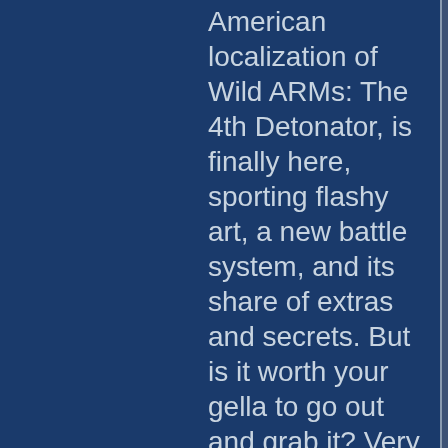American localization of Wild ARMs: The 4th Detonator, is finally here, sporting flashy art, a new battle system, and its share of extras and secrets. But is it worth your gella to go out and grab it? Very likely. Featuring some improvements over some of the